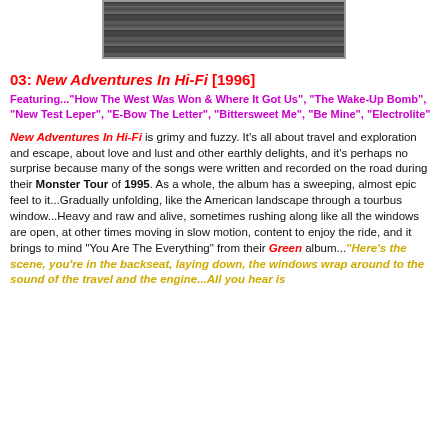[Figure (photo): Black and white landscape photo, stormy sky or terrain, cropped at top]
03: New Adventures In Hi-Fi [1996]
Featuring..."How The West Was Won & Where It Got Us", "The Wake-Up Bomb", "New Test Leper", "E-Bow The Letter", "Bittersweet Me", "Be Mine", "Electrolite"
New Adventures In Hi-Fi is grimy and fuzzy. It's all about travel and exploration and escape, about love and lust and other earthly delights, and it's perhaps no surprise because many of the songs were written and recorded on the road during their Monster Tour of 1995. As a whole, the album has a sweeping, almost epic feel to it...Gradually unfolding, like the American landscape through a tourbus window...Heavy and raw and alive, sometimes rushing along like all the windows are open, at other times moving in slow motion, content to enjoy the ride, and it brings to mind "You Are The Everything" from their Green album..."Here's the scene, you're in the backseat, laying down, the windows wrap around to the sound of the travel and the engine...All you hear is